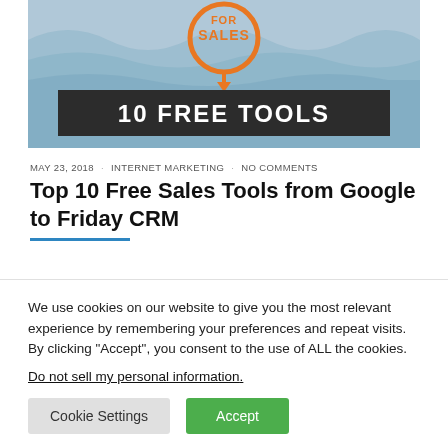[Figure (illustration): Banner image with ocean/water background, orange circular icon with 'FOR SALES' text, and dark banner reading '10 FREE TOOLS' in white bold text.]
MAY 23, 2018 · INTERNET MARKETING · NO COMMENTS
Top 10 Free Sales Tools from Google to Friday CRM
We use cookies on our website to give you the most relevant experience by remembering your preferences and repeat visits. By clicking "Accept", you consent to the use of ALL the cookies.
Do not sell my personal information.